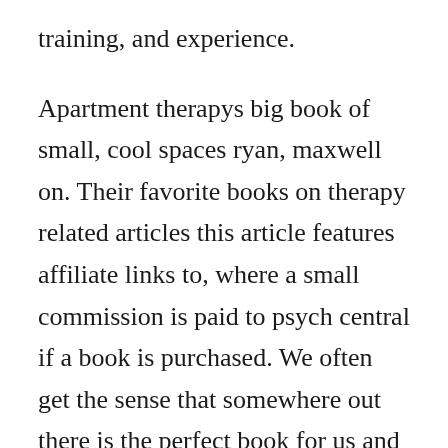training, and experience.
Apartment therapys big book of small, cool spaces ryan, maxwell on. Their favorite books on therapy related articles this article features affiliate links to, where a small commission is paid to psych central if a book is purchased. We often get the sense that somewhere out there is the perfect book for us and the problem we are facing at the moment getting older, dealing with love, enduring work, having a good holiday, working out how to build a. May 10, 20 comprehensive,